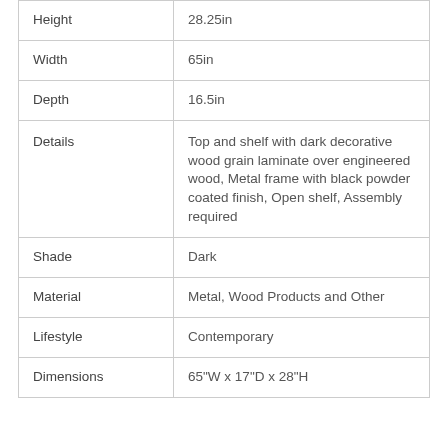| Height | 28.25in |
| Width | 65in |
| Depth | 16.5in |
| Details | Top and shelf with dark decorative wood grain laminate over engineered wood, Metal frame with black powder coated finish, Open shelf, Assembly required |
| Shade | Dark |
| Material | Metal, Wood Products and Other |
| Lifestyle | Contemporary |
| Dimensions | 65"W x 17"D x 28"H |